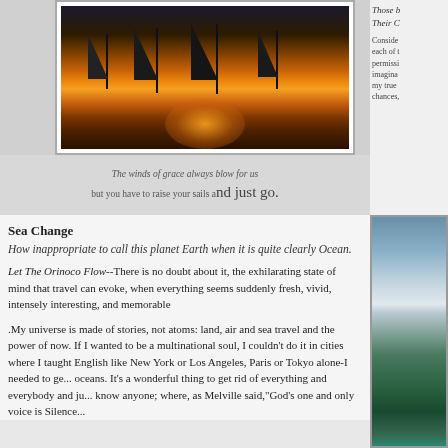[Figure (photo): Sailboat silhouettes against a golden sunset reflected on calm water]
The winds of grace always blow for us
but you have to raise your sails and just go.
Those b... Their C...
Conside... each of t... permissi... imagina... my true ... chances,...
[Figure (photo): Ocean horizon with dramatic cloudy sky and turquoise water]
Sea Change
How inappropriate to call this planet Earth when it is quite clearly Ocean.
Let The Orinoco Flow--There is no doubt about it, the exhilarating state of mind that travel can evoke, when everything seems suddenly fresh, vivid, intensely interesting, and memorable
.My universe is made of stories, not atoms: land, air and sea travel and the power of now. If I wanted to be a multinational soul, I couldn't do it in cities where I taught English like New York or Los Angeles, Paris or Tokyo alone-I needed to ge... oceans. It's a wonderful thing to get rid of everything and everybody and ju... know anyone; where, as Melville said,"God's one and only voice is Silence...